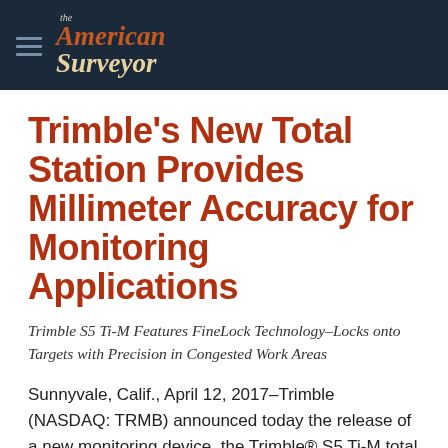the American Surveyor
Trimble's New Total Station Provides Millimeter Accuracy for Monitoring Applications
Trimble S5 Ti-M Features FineLock Technology–Locks onto Targets with Precision in Congested Work Areas
Sunnyvale, Calif., April 12, 2017–Trimble (NASDAQ: TRMB) announced today the release of a new monitoring device, the Trimble® S5 Ti-M total